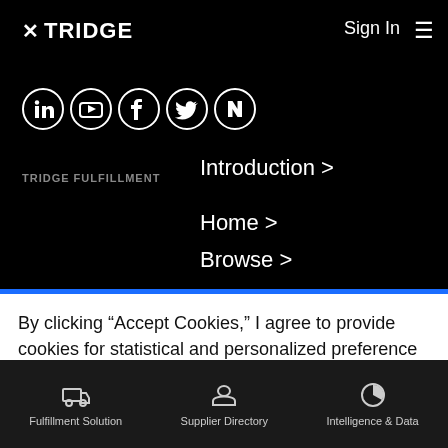TRIDGE   Sign In ≡
[Figure (illustration): Social media icons: LinkedIn, YouTube, Facebook, Twitter, Naver]
TRIDGE FULFILLMENT
Introduction >
Home >
Browse >
By clicking "Accept Cookies," I agree to provide cookies for statistical and personalized preference purposes. To learn more about our cookies, please read our Privacy Policy.
Accept Cookies
Fulfillment Solution   Supplier Directory   Intelligence & Data